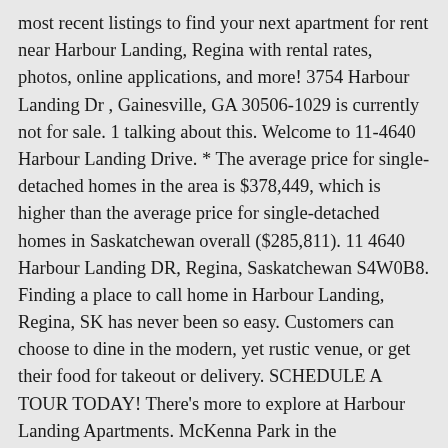most recent listings to find your next apartment for rent near Harbour Landing, Regina with rental rates, photos, online applications, and more! 3754 Harbour Landing Dr , Gainesville, GA 30506-1029 is currently not for sale. 1 talking about this. Welcome to 11-4640 Harbour Landing Drive. * The average price for single-detached homes in the area is $378,449, which is higher than the average price for single-detached homes in Saskatchewan overall ($285,811). 11 4640 Harbour Landing DR, Regina, Saskatchewan S4W0B8. Finding a place to call home in Harbour Landing, Regina, SK has never been so easy. Customers can choose to dine in the modern, yet rustic venue, or get their food for takeout or delivery. SCHEDULE A TOUR TODAY! There's more to explore at Harbour Landing Apartments. McKenna Park in the southeastern section of the neighbourhood has a woodland-themed play structure, a treehouse, greenspace, seating areas, covered picnic areas, walking paths, and landscaped areas. $25 monthly pet rent per pet. If you're wondering what other amenities this gorgeous seaside cottage ... The HLCA is happy to see that the rink and shack in Harbour Landing ... have been busy since opening in December. The public Ecole Harbour Landing School is incomplete. Farther north is the MacKenzie Art Gallery, Saskatchewan's largest public art gallery. Nestled along the waterfront in the community of Esquimalt, Harbour Landing is a boutique, five-storey community of 82 executive-style...